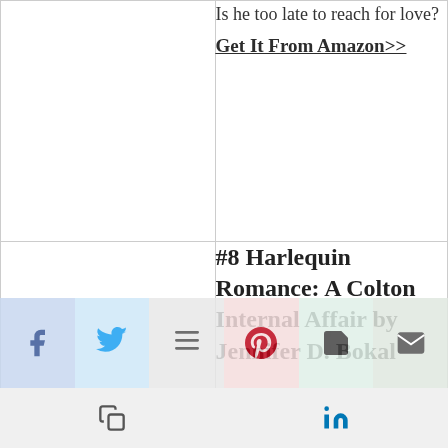Is he too late to reach for love?
Get It From Amazon>>
#8 Harlequin Romance: A Colton Internal Affair by Jennifer D. Bokal
While on patrol, rookie cop Grace Colton pursues a fleeing suspect, never thinking it could end her career, or her